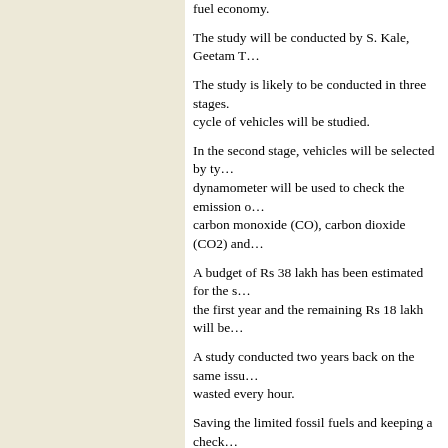fuel economy.
The study will be conducted by S. Kale, Geetam T…
The study is likely to be conducted in three stages. … cycle of vehicles will be studied.
In the second stage, vehicles will be selected by typ… dynamometer will be used to check the emission o… carbon monoxide (CO), carbon dioxide (CO2) and…
A budget of Rs 38 lakh has been estimated for the s… the first year and the remaining Rs 18 lakh will be…
A study conducted two years back on the same issu… wasted every hour.
Saving the limited fossil fuels and keeping a check… scientists in recent years.
Book fest at D…
Tribun…
New Delhi, March 10
A weeklong book fest will start on March 12 at the…
Penguin Classics Library will be organised at the…